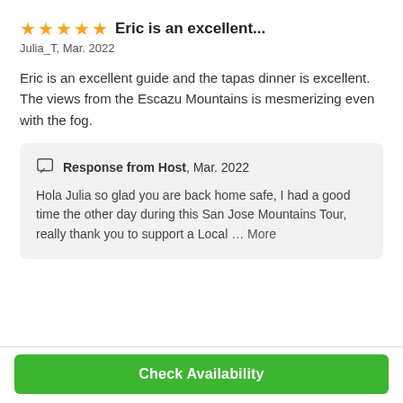★★★★★ Eric is an excellent...
Julia_T, Mar. 2022
Eric is an excellent guide and the tapas dinner is excellent. The views from the Escazu Mountains is mesmerizing even with the fog.
Response from Host, Mar. 2022
Hola Julia so glad you are back home safe, I had a good time the other day during this San Jose Mountains Tour, really thank you to support a Local ... More
Check Availability